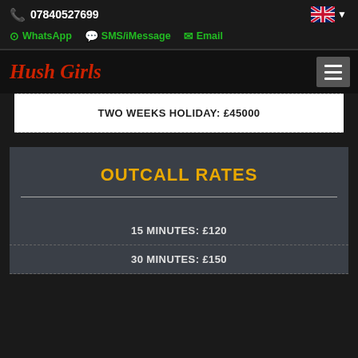📞 07840527699
WhatsApp  SMS/iMessage  Email
Hush Girls
TWO WEEKS HOLIDAY: £45000
OUTCALL RATES
15 MINUTES: £120
30 MINUTES: £150